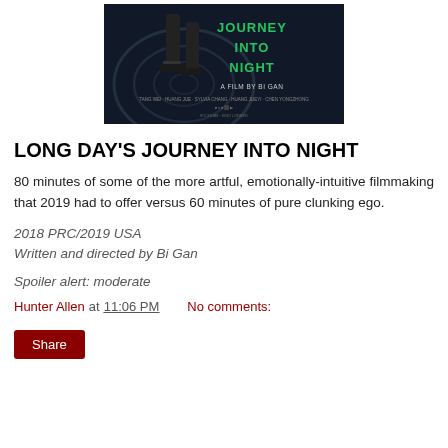[Figure (photo): Movie poster for 'Long Day's Journey Into Night' — a film by Bi Gan. Dark swirling background with a woman's legs in black heeled shoes. Text reads 'JOURNEY INTO NIGHT' in green letters, 'A FILM BY BI GAN' in white, with cast credits below.]
LONG DAY'S JOURNEY INTO NIGHT
80 minutes of some of the more artful, emotionally-intuitive filmmaking that 2019 had to offer versus 60 minutes of pure clunking ego.
2018 PRC/2019 USA
Written and directed by Bi Gan
Spoiler alert: moderate
Hunter Allen at 11:06 PM     No comments:
Share